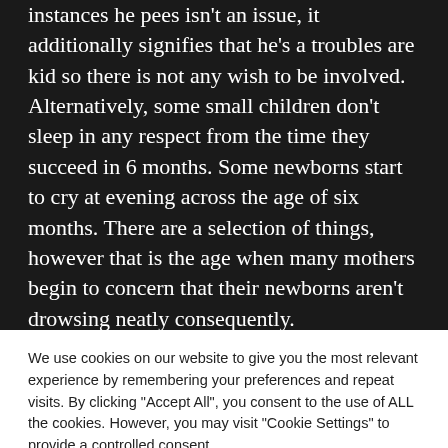instances he pees isn't an issue, it additionally signifies that he's a troubles are kid so there is not any wish to be involved. Alternatively, some small children don't sleep in any respect from the time they succeed in 6 months. Some newborns start to cry at evening across the age of six months. There are a selection of things, however that is the age when many mothers begin to concern that their newborns aren't drowsing neatly consequently.
We use cookies on our website to give you the most relevant experience by remembering your preferences and repeat visits. By clicking "Accept All", you consent to the use of ALL the cookies. However, you may visit "Cookie Settings" to provide a controlled consent.